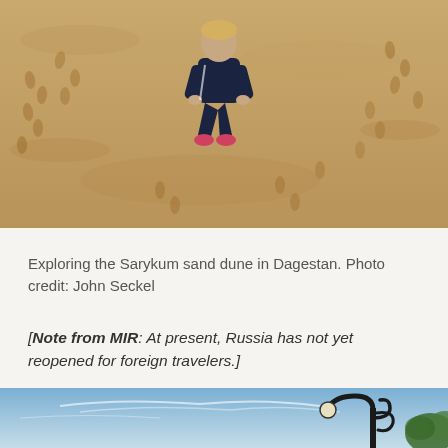[Figure (photo): Person crouching on the Sarykum sand dune in Dagestan, wearing dark clothing and pink/red sneakers. Sandy terrain with footprints visible throughout.]
Exploring the Sarykum sand dune in Dagestan. Photo credit: John Seckel
[Note from MIR: At present, Russia has not yet reopened for foreign travelers.]
[Figure (photo): Blue sky with light wispy clouds, an ornate black metal street lamp in the lower right, and tree foliage partially visible at the far right edge.]